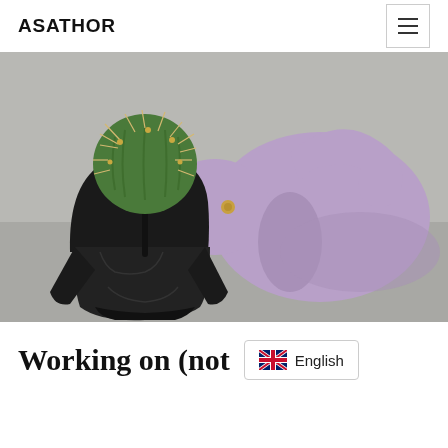ASATHOR
[Figure (photo): A cactus plant in a black Darth Vader helmet-shaped pot, next to a purple elephant-shaped watering can, on a grey surface.]
Working on (not  English